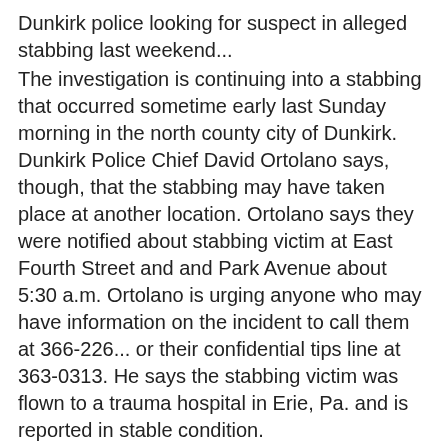Dunkirk police looking for suspect in alleged stabbing last weekend...
The investigation is continuing into a stabbing that occurred sometime early last Sunday morning in the north county city of Dunkirk.  Dunkirk Police Chief David Ortolano says, though, that the stabbing may have taken place at another location.  Ortolano says they were notified about stabbing victim at East Fourth Street and and Park Avenue about 5:30 a.m.  Ortolano is urging anyone who may have information on the incident to call them at 366-226... or their confidential tips line at 363-0313.  He says the stabbing victim was flown to a trauma hospital in Erie, Pa. and is reported in stable condition.
Jamestown woman arrested for burglary...
A city woman is accused of breaking into a home on Jamestown's eastside late Wednesday night.  City police were called to 15 East Fifth St. shortly before Midnight... and found there had been forced entry made to the